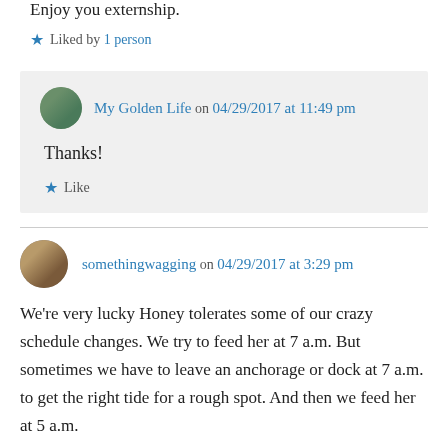Enjoy you externship.
Liked by 1 person
My Golden Life on 04/29/2017 at 11:49 pm
Thanks!
Like
somethingwagging on 04/29/2017 at 3:29 pm
We’re very lucky Honey tolerates some of our crazy schedule changes. We try to feed her at 7 a.m. But sometimes we have to leave an anchorage or dock at 7 a.m. to get the right tide for a rough spot. And then we feed her at 5 a.m.